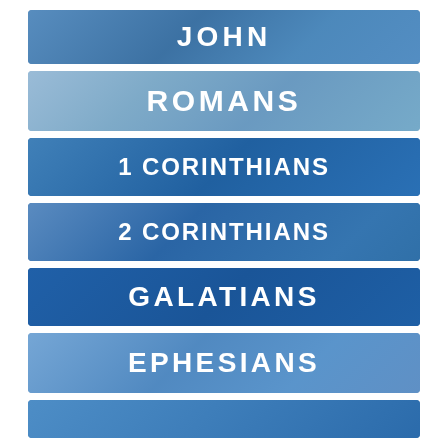JOHN
ROMANS
1 CORINTHIANS
2 CORINTHIANS
GALATIANS
EPHESIANS